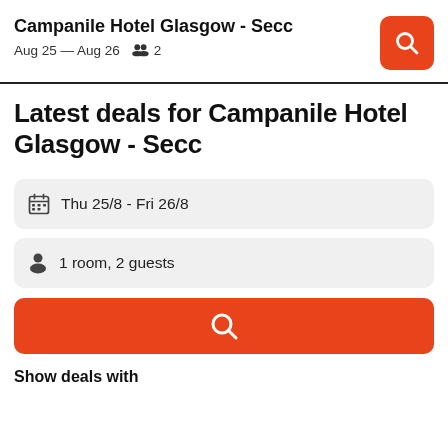Campanile Hotel Glasgow - Secc
Aug 25 — Aug 26   2
Latest deals for Campanile Hotel Glasgow - Secc
Thu 25/8  -  Fri 26/8
1 room, 2 guests
Show deals with